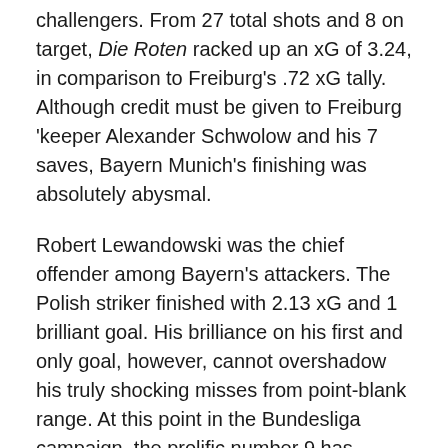challengers. From 27 total shots and 8 on target, Die Roten racked up an xG of 3.24, in comparison to Freiburg's .72 xG tally. Although credit must be given to Freiburg 'keeper Alexander Schwolow and his 7 saves, Bayern Munich's finishing was absolutely abysmal.
Robert Lewandowski was the chief offender among Bayern's attackers. The Polish striker finished with 2.13 xG and 1 brilliant goal. His brilliance on his first and only goal, however, cannot overshadow his truly shocking misses from point-blank range. At this point in the Bundesliga campaign, the prolific number 9 has under-performed his xG by almost 9 goals. Lewandowski remains an important and talented player, but his once lethal finishing is now becoming a concern.